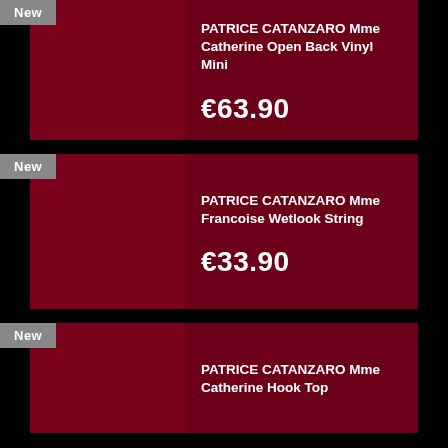New
PATRICE CATANZARO Mme Catherine Open Back Vinyl Mini
€63.90
New
PATRICE CATANZARO Mme Francoise Wetlook String
€33.90
New
PATRICE CATANZARO Mme Catherine Hook Top